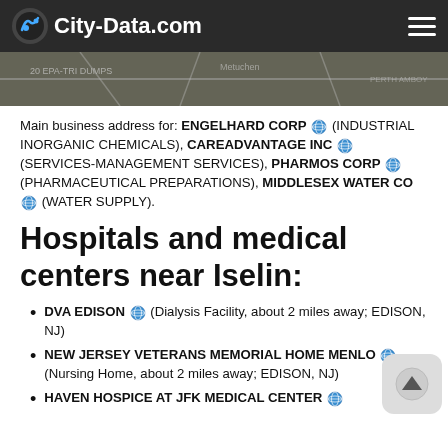City-Data.com
[Figure (map): Partial map/aerial background image in dark gray tones]
Main business address for: ENGELHARD CORP (INDUSTRIAL INORGANIC CHEMICALS), CAREADVANTAGE INC (SERVICES-MANAGEMENT SERVICES), PHARMOS CORP (PHARMACEUTICAL PREPARATIONS), MIDDLESEX WATER CO (WATER SUPPLY).
Hospitals and medical centers near Iselin:
DVA EDISON (Dialysis Facility, about 2 miles away; EDISON, NJ)
NEW JERSEY VETERANS MEMORIAL HOME MENLO (Nursing Home, about 2 miles away; EDISON, NJ)
HAVEN HOSPICE AT JFK MEDICAL CENTER